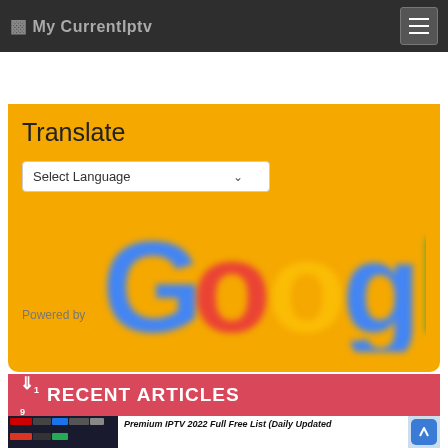My CurrentIptv
[Figure (screenshot): Google Translate widget with orange/yellow background, Select Language dropdown, and Google logo]
RECENT ARTICLES
Premium IPTV 2022 Full Free List (Daily Updated
[Figure (screenshot): IPTV channel logos grid thumbnail]